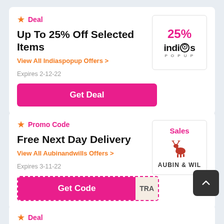Deal
Up To 25% Off Selected Items
View All Indiaspopup Offers >
Expires 2-12-22
Get Deal
Promo Code
Free Next Day Delivery
View All Aubinandwills Offers >
Expires 3-11-22
Get Code
Deal